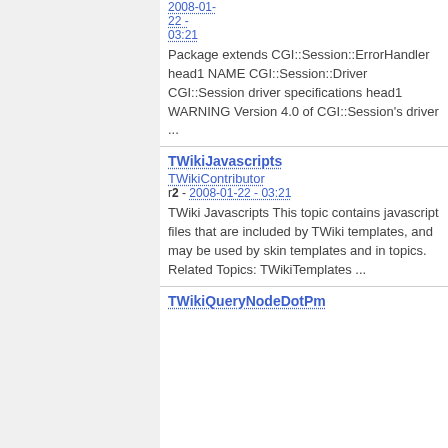2008-01-22 - 03:21
Package extends CGI::Session::ErrorHandler head1 NAME CGI::Session::Driver CGI::Session driver specifications head1 WARNING Version 4.0 of CGI::Session's driver ...
TWikiJavascripts
TWikiContributor
r2 - 2008-01-22 - 03:21
TWiki Javascripts This topic contains javascript files that are included by TWiki templates, and may be used by skin templates and in topics. Related Topics: TWikiTemplates ...
TWikiQueryNodeDotPm